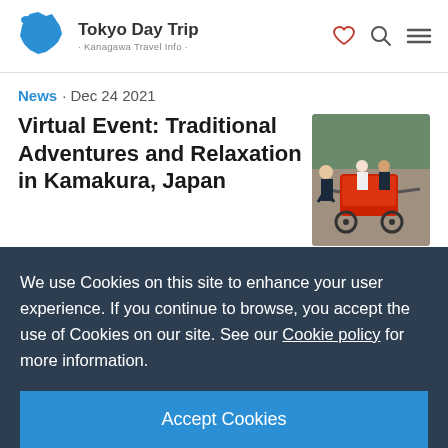Tokyo Day Trip · Kanagawa Travel Info ·
News · Dec 24 2021
Virtual Event: Traditional Adventures and Relaxation in Kamakura, Japan
[Figure (photo): People riding in a traditional rickshaw; a man in dark clothing pulls the rickshaw with passengers behind.]
Discover Japan as never before as we provide an experience of adventure and
We use Cookies on this site to enhance your user experience. If you continue to browse, you accept the use of Cookies on our site. See our Cookie policy for more information.
Accept Cookies